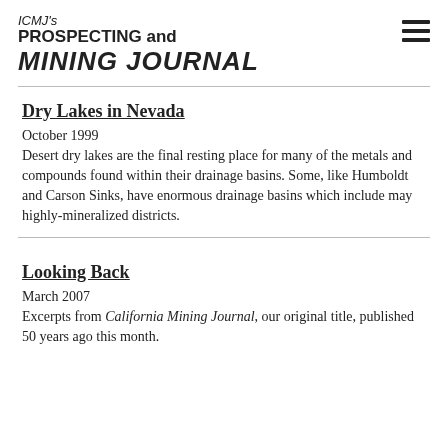ICMJ's PROSPECTING and MINING JOURNAL
Dry Lakes in Nevada
October 1999
Desert dry lakes are the final resting place for many of the metals and compounds found within their drainage basins. Some, like Humboldt and Carson Sinks, have enormous drainage basins which include may highly-mineralized districts.
Looking Back
March 2007
Excerpts from California Mining Journal, our original title, published 50 years ago this month.